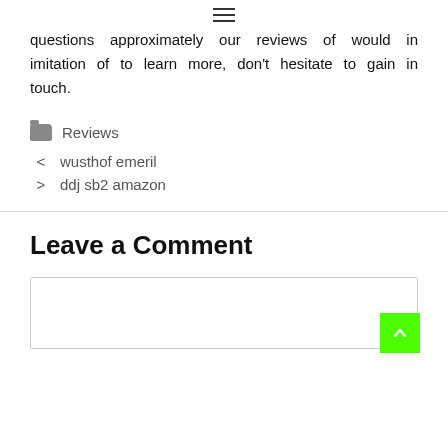≡ (hamburger menu icon)
questions approximately our reviews of would in imitation of to learn more, don't hesitate to gain in touch.
Reviews
< wusthof emeril
> ddj sb2 amazon
Leave a Comment